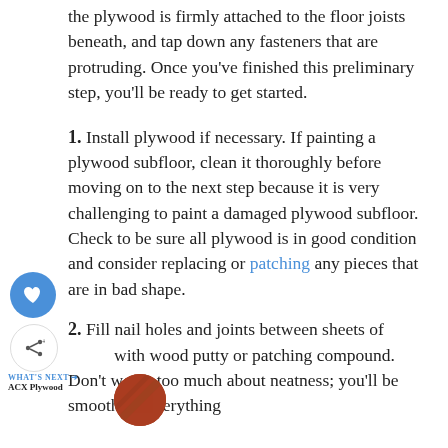the plywood is firmly attached to the floor joists beneath, and tap down any fasteners that are protruding. Once you've finished this preliminary step, you'll be ready to get started.
1. Install plywood if necessary. If painting a plywood subfloor, clean it thoroughly before moving on to the next step because it is very challenging to paint a damaged plywood subfloor. Check to be sure all plywood is in good condition and consider replacing or patching any pieces that are in bad shape.
2. Fill nail holes and joints between sheets of plywood with wood putty or patching compound. Don't worry too much about neatness; you'll be smoothing everything
[Figure (photo): Small circular thumbnail image of ACX Plywood with a 'WHAT'S NEXT' label and share/heart buttons on the left side]